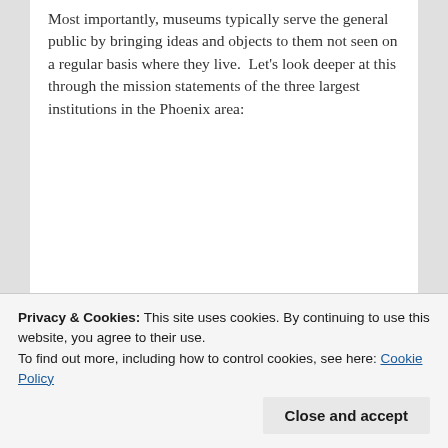Most importantly, museums typically serve the general public by bringing ideas and objects to them not seen on a regular basis where they live.  Let's look deeper at this through the mission statements of the three largest institutions in the Phoenix area:
Phoenix Art Museum: Our Mission is simple – Phoenix Art Museum is a vibrant destination connecting people to great art from around the world to enrich their lives and communities.
SMoCA: The Scottsdale Museum of Contemporary Art...
and design by exploring new curatorial approaches and by
Privacy & Cookies: This site uses cookies. By continuing to use this website, you agree to their use.
To find out more, including how to control cookies, see here: Cookie Policy